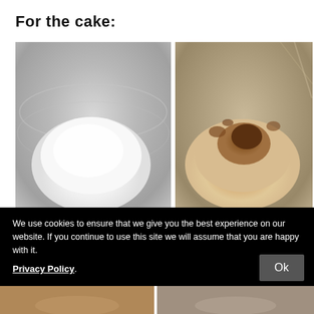For the cake:
[Figure (photo): Top-down view of a stainless steel mixing bowl with white flour or powdered sugar]
[Figure (photo): Top-down view of a stainless steel mixing bowl with flour mixed with brown spice or cocoa powder]
We use cookies to ensure that we give you the best experience on our website. If you continue to use this site we will assume that you are happy with it. Privacy Policy
[Figure (photo): Partial bottom strip showing two additional photos of baking ingredients]
Ok